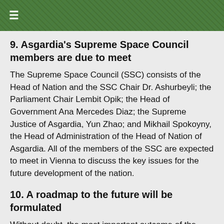≡
9. Asgardia's Supreme Space Council members are due to meet
The Supreme Space Council (SSC) consists of the Head of Nation and the SSC Chair Dr. Ashurbeyli; the Parliament Chair Lembit Opik; the Head of Government Ana Mercedes Diaz; the Supreme Justice of Asgardia, Yun Zhao; and Mikhail Spokoyny, the Head of Administration of the Head of Nation of Asgardia. All of the members of the SSC are expected to meet in Vienna to discuss the key issues for the future development of the nation.
10. A roadmap to the future will be formulated
Without doubt, the most important outcome of the Executive Congress is that the Government and Parliament will create a key vision for the direction that the nation needs to take to